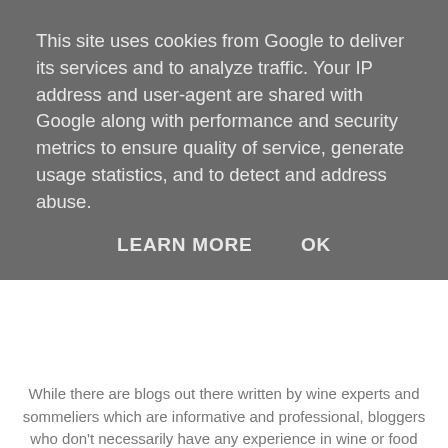This site uses cookies from Google to deliver its services and to analyze traffic. Your IP address and user-agent are shared with Google along with performance and security metrics to ensure quality of service, generate usage statistics, and to detect and address abuse.
LEARN MORE   OK
While there are blogs out there written by wine experts and sommeliers which are informative and professional, bloggers who don't necessarily have any experience in wine or food and wine pairing can also enjoy this task and come up with some ideas which could work for anyone.
The challenge is not set by any brand at all and firstly I wanted to get an idea of how to serve the Chablis as I do know wines need various conditionsand temperatures satistying, to enjoy it at their best.
My idea of serving is usually straight from the fridge, open pour and consume and I think I've been going a bit wrong! OK a lot wrong.